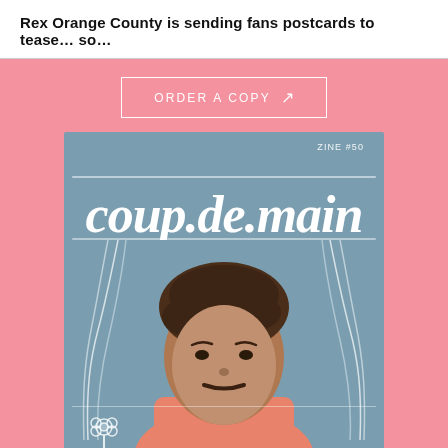Rex Orange County is sending fans postcards to tease… so…
ORDER A COPY ↗
[Figure (photo): Magazine cover of Coup de Main, Zine #50, featuring a photo of Rex Orange County on a blue-grey background with white chalk-style curtain illustrations and the magazine's handwritten-style logo at the top.]